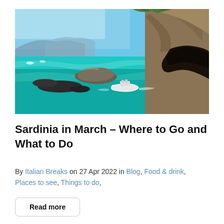[Figure (photo): Scenic coastal photo showing turquoise Mediterranean sea water, dramatic rocky limestone cliffs with a cave on the right, a white motorboat with passengers near the cave, and smaller boats visible in the background under a clear blue sky.]
Sardinia in March – Where to Go and What to Do
By Italian Breaks on 27 Apr 2022 in Blog, Food & drink, Places to see, Things to do,
Read more